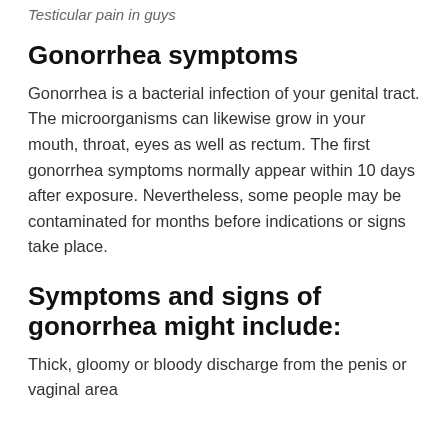Testicular pain in guys
Gonorrhea symptoms
Gonorrhea is a bacterial infection of your genital tract. The microorganisms can likewise grow in your mouth, throat, eyes as well as rectum. The first gonorrhea symptoms normally appear within 10 days after exposure. Nevertheless, some people may be contaminated for months before indications or signs take place.
Symptoms and signs of gonorrhea might include:
Thick, gloomy or bloody discharge from the penis or vaginal area